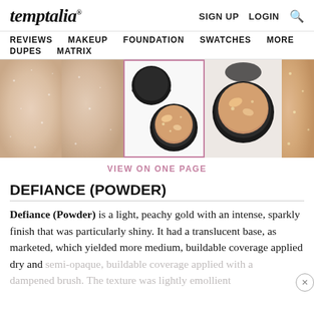temptalia® — SIGN UP  LOGIN  🔍
REVIEWS  MAKEUP  FOUNDATION  SWATCHES  MORE  DUPES  MATRIX
[Figure (photo): Image strip showing 5 panels: two skin swatch photos (peachy/shimmery), one selected product photo of open compact (peach-gold eyeshadow, highlighted with pink border), one open compact photo, and one close-up swatch photo]
VIEW ON ONE PAGE
DEFIANCE (POWDER)
Defiance (Powder) is a light, peachy gold with an intense, sparkly finish that was particularly shiny. It had a translucent base, as marketed, which yielded more medium, buildable coverage applied dry and semi-opaque, buildable coverage applied with a dampened brush. The texture was lightly emollient